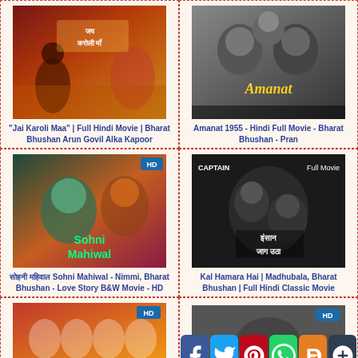[Figure (photo): Movie thumbnail for Jai Karoli Maa - Hindi movie poster with colorful traditional imagery and Hindi text]
"Jai Karoli Maa" | Full Hindi Movie | Bharat Bhushan Arun Govil Alka Kapoor
[Figure (photo): Movie thumbnail for Amanat 1955 - black and white photo of actors with Amanat title text]
Amanat 1955 - Hindi Full Movie - Bharat Bhushan - Pran
[Figure (photo): Movie thumbnail for Sohni Mahiwal - colorful illustrated poster with HD badge]
सोहनी महिवाल Sohni Mahiwal - Nimmi, Bharat Bhushan - Love Story B&W Movie - HD
[Figure (photo): Movie thumbnail for Kal Hamara Hai - black and white classic Hindi movie with Captain and Full Movie text]
Kal Hamara Hai | Madhubala, Bharat Bhushan | Full Hindi Classic Movie
[Figure (photo): Partial movie thumbnail at bottom left with HD badge and group of women]
[Figure (photo): Partial movie thumbnail at bottom right with HD badge]